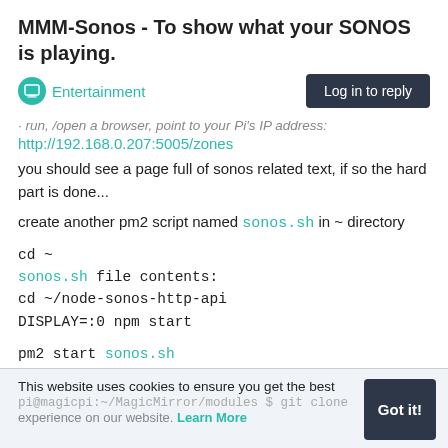MMM-Sonos - To show what your SONOS is playing.
Entertainment | Log in to reply
· run, /open a browser, point to your Pi's IP address:
http://192.168.0.207:5005/zones
you should see a page full of sonos related text, if so the hard part is done...
create another pm2 script named sonos.sh in ~ directory
cd ~
sonos.sh file contents:
cd ~/node-sonos-http-api
DISPLAY=:0 npm start
pm2 start sonos.sh
pm2 start mm
pm2 save
This website uses cookies to ensure you get the best experience on our website. Learn More